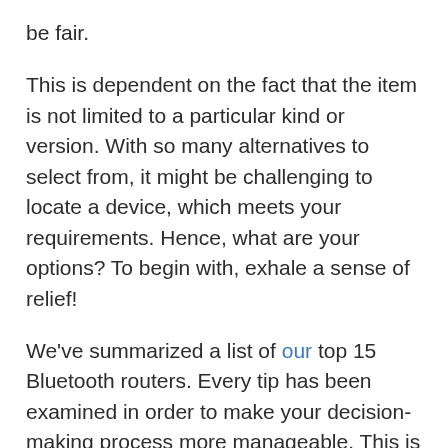be fair.
This is dependent on the fact that the item is not limited to a particular kind or version. With so many alternatives to select from, it might be challenging to locate a device, which meets your requirements. Hence, what are your options? To begin with, exhale a sense of relief!
We've summarized a list of our top 15 Bluetooth routers. Every tip has been examined in order to make your decision-making process more manageable. This is supplemented by a thorough customer's guideline to assist you in making a knowledgeable selection.